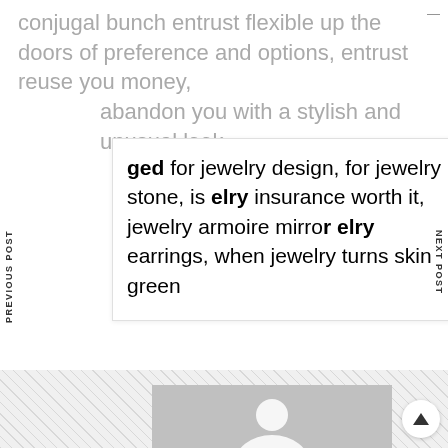conjugal bunch entrust flexible up the doors of preference and options, entrust reuse you money, abandon you with a stylish and unusual look
ged for jewelry design, for jewelry stone, is elry insurance worth it, jewelry armoire mirror elry earrings, when jewelry turns skin green
[Figure (photo): User avatar / profile image placeholder (gray rectangle with white silhouette shape visible at bottom)]